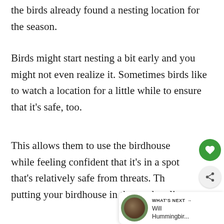the birds already found a nesting location for the season.
Birds might start nesting a bit early and you might not even realize it. Sometimes birds like to watch a location for a little while to ensure that it’s safe, too.
This allows them to use the birdhouse while feeling confident that it’s in a spot that’s relatively safe from threats. This putting your birdhouse in the yard earlier